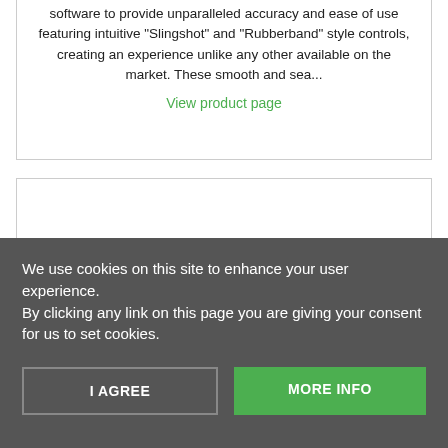software to provide unparalleled accuracy and ease of use featuring intuitive “Slingshot” and “Rubberband” style controls, creating an experience unlike any other available on the market. These smooth and sea...
View product page
We use cookies on this site to enhance your user experience.
By clicking any link on this page you are giving your consent for us to set cookies.